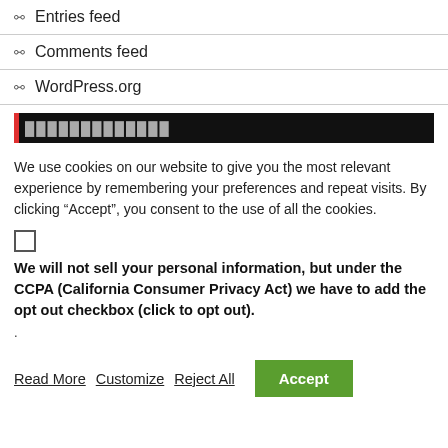Entries feed
Comments feed
WordPress.org
[Figure (other): Dark banner with red left border and obscured text]
We use cookies on our website to give you the most relevant experience by remembering your preferences and repeat visits. By clicking “Accept”, you consent to the use of all the cookies.
We will not sell your personal information, but under the CCPA (California Consumer Privacy Act) we have to add the opt out checkbox (click to opt out).
.
Read More   Customize   Reject All   Accept